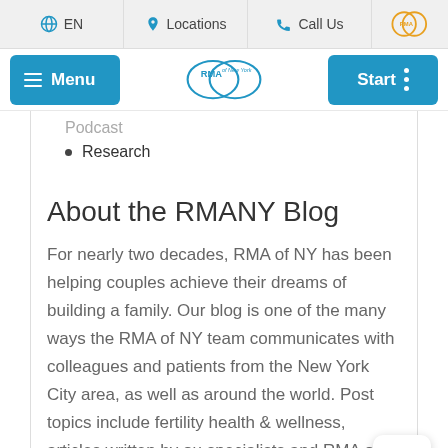EN  Locations  Call Us
[Figure (screenshot): RMA of New York website header with Menu button, RMA of NY logo (two overlapping circles), and Start button]
Podcast
Research
About the RMANY Blog
For nearly two decades, RMA of NY has been helping couples achieve their dreams of building a family. Our blog is one of the many ways the RMA of NY team communicates with colleagues and patients from the New York City area, as well as around the world. Post topics include fertility health & wellness, articles written by our specialists and RMA of NY in the news!